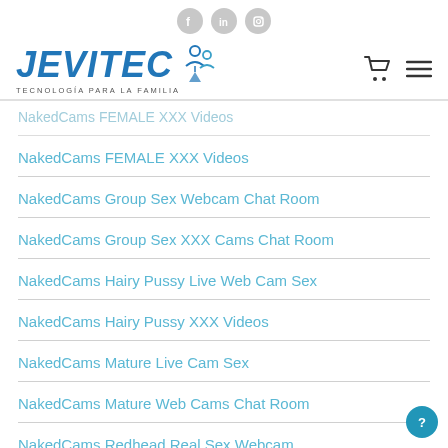JEVITEC — TECNOLOGÍA PARA LA FAMILIA
NakedCams FEMALE XXX Videos
NakedCams Group Sex Webcam Chat Room
NakedCams Group Sex XXX Cams Chat Room
NakedCams Hairy Pussy Live Web Cam Sex
NakedCams Hairy Pussy XXX Videos
NakedCams Mature Live Cam Sex
NakedCams Mature Web Cams Chat Room
NakedCams Redhead Real Sex Webcam